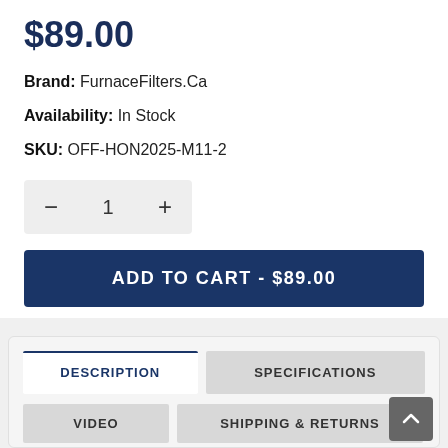$89.00
Brand: FurnaceFilters.Ca
Availability: In Stock
SKU: OFF-HON2025-M11-2
Quantity selector: minus, 1, plus
ADD TO CART - $89.00
DESCRIPTION
SPECIFICATIONS
VIDEO
SHIPPING & RETURNS